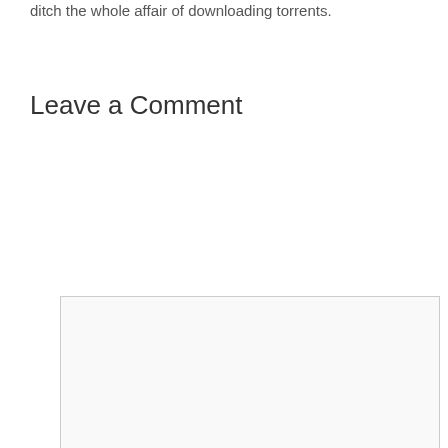ditch the whole affair of downloading torrents.
Leave a Comment
[Figure (other): Large textarea input field for comment text, with a resize handle in the bottom-right corner]
[Figure (other): Name text input field with placeholder text 'Name *']
[Figure (other): Scroll-to-top button, grey square with upward chevron arrow]